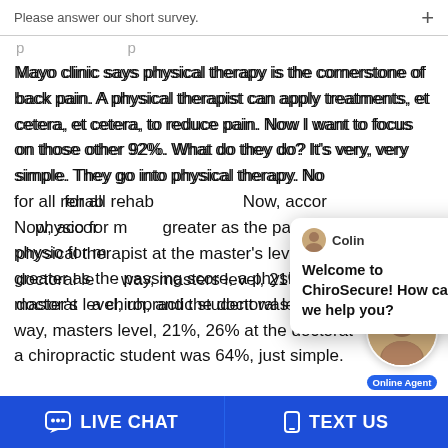Please answer our short survey.
Mayo clinic says physical therapy is the cornerstone of back pain. A physical therapist can apply treatments, et cetera, et cetera, to reduce pain. Now I want to focus on those other 92%. What do they do? It's very, very simple. They go into physical therapy. No [partially obscured] for all rehab [partially obscured] Now, accor[d] [partially obscured] physio for m[asters] [partially obscured] greater as the passing score, a physical therapist at the master's level, uh, and the doctoral le[vel] way, masters level, 21%, 26% at the doctorat[e] a chiropractic student was 64%, just simple.
[Figure (screenshot): Live chat popup with agent named Colin. Message: Welcome to ChiroSecure! How can we help you?]
LIVE CHAT   TEXT US